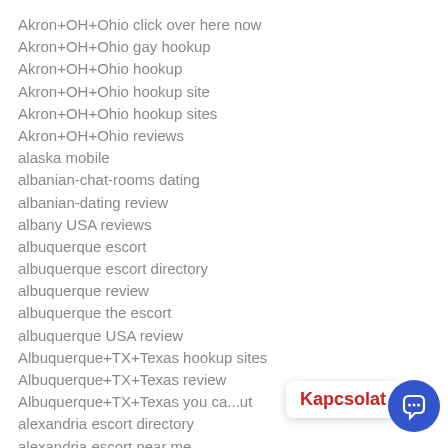Akron+OH+Ohio click over here now
Akron+OH+Ohio gay hookup
Akron+OH+Ohio hookup
Akron+OH+Ohio hookup site
Akron+OH+Ohio hookup sites
Akron+OH+Ohio reviews
alaska mobile
albanian-chat-rooms dating
albanian-dating review
albany USA reviews
albuquerque escort
albuquerque escort directory
albuquerque review
albuquerque the escort
albuquerque USA review
Albuquerque+TX+Texas hookup sites
Albuquerque+TX+Texas review
Albuquerque+TX+Texas you ca...ut
alexandria escort directory
alexandria escort near me
Kapcsolat